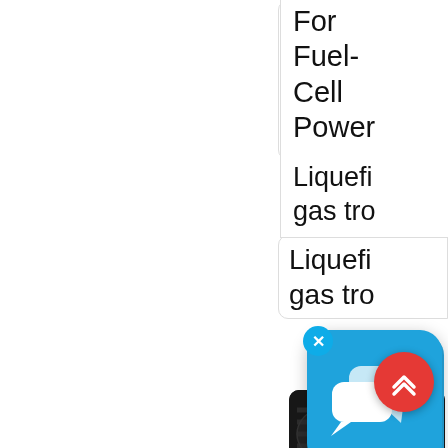For Fuel-Cell Power
Liquefied gas tro
[Figure (screenshot): Blue chat bubble application icon with white speech bubbles, with a close (X) button in top-left corner]
[Figure (photo): Dark bundled hoses or tubes, industrial product photo]
[Figure (other): Red circular scroll-to-top button with double up-chevron arrows]
Chemi
Product
Hose
Orlando
Epr
IVG
Colba